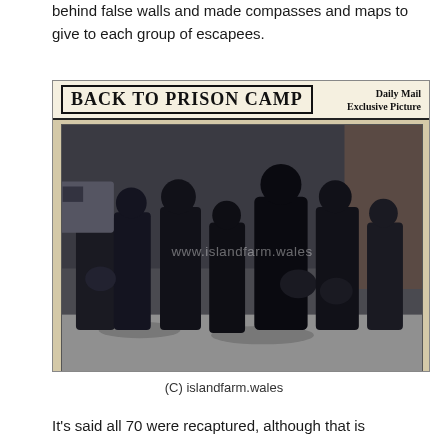behind false walls and made compasses and maps to give to each group of escapees.
[Figure (photo): Newspaper clipping with headline 'BACK TO PRISON CAMP Daily Mail Exclusive Picture' showing a black-and-white photograph of men in dark military coats and caps walking, carrying bundles, being marched back to prison camp. Watermark reads 'www.islandfarm.wales'.]
(C) islandfarm.wales
It's said all 70 were recaptured, although that is